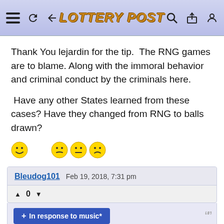LOTTERY POST
Thank You lejardin for the tip.  The RNG games are to blame. Along with the immoral behavior and criminal conduct by the criminals here.

 Have any other States learned from these cases? Have they changed from RNG to balls drawn?
[Figure (illustration): Emoji faces: one smiley face on left, then three emoji faces grouped together (thinking/neutral/skeptical expressions)]
Bleudog101   Feb 19, 2018, 7:31 pm
▲ 0 ▼
+ In response to music*
music*, I think you answered your own question second sentence...